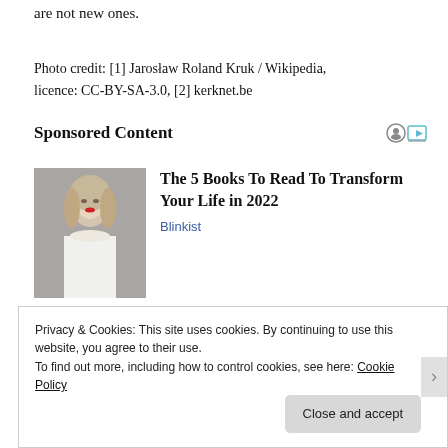are not new ones.
Photo credit: [1] Jarosław Roland Kruk / Wikipedia, licence: CC-BY-SA-3.0, [2] kerknet.be
Sponsored Content
[Figure (photo): Portrait photo of a blonde woman with red lipstick wearing a white top, used as advertisement image]
The 5 Books To Read To Transform Your Life in 2022
Blinkist
Privacy & Cookies: This site uses cookies. By continuing to use this website, you agree to their use.
To find out more, including how to control cookies, see here: Cookie Policy